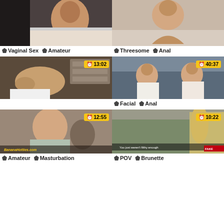[Figure (screenshot): Video thumbnail - top left, woman on couch]
Vaginal Sex  Amateur
[Figure (screenshot): Video thumbnail - top right, woman smiling]
Threesome  Anal
[Figure (screenshot): Video thumbnail - middle left, office scene, duration 13:02]
[Figure (screenshot): Video thumbnail - middle right, two women on couch, duration 40:37]
Facial  Anal
[Figure (screenshot): Video thumbnail - bottom left, duration 12:55, watermark BananaHotties.com]
Amateur  Masturbation
[Figure (screenshot): Video thumbnail - bottom right, duration 10:22, overlay text 'You just weren't filthy enough']
POV  Brunette